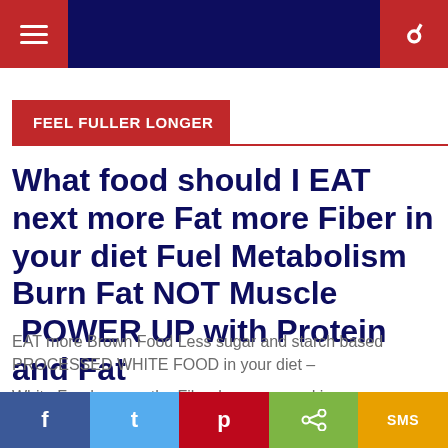Navigation bar with hamburger menu and search icon
FEEL FULLER LONGER
What food should I EAT next more Fat more Fiber in your diet Fuel Metabolism Burn Fat NOT Muscle  POWER UP with Protein and Fat
EAT more Brown Food Less sugar and starch based PROCESSED WHITE FOOD in your diet –
White Food means the Fiber has gone and in the case potatoes was never there in the first place
Social share bar: Facebook, Twitter, Pinterest, Share, SMS